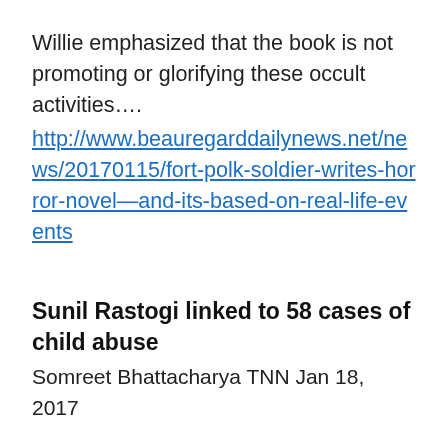Willie emphasized that the book is not promoting or glorifying these occult activities….
http://www.beauregarddailynews.net/news/20170115/fort-polk-soldier-writes-horror-novel—and-its-based-on-real-life-events
Sunil Rastogi linked to 58 cases of child abuse
Somreet Bhattacharya TNN Jan 18, 2017
NEW DELHI: It cannot have been an easy task given that paedophile Sunil Rastogi confessed to 500 criminal acts over a dozen years, but Delhi Police has now pinpointed 58 of them, greatly